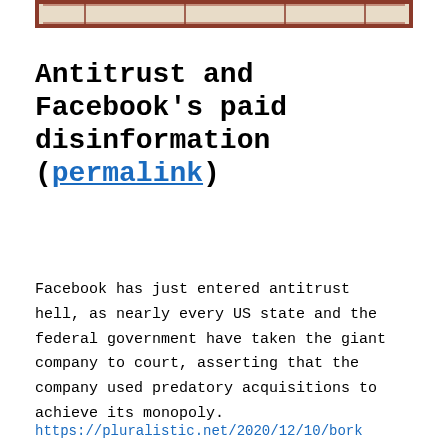[Figure (illustration): Partial view of a decorative or editorial image at the top of the page, showing a border with reddish-brown frame elements on a light background.]
Antitrust and Facebook's paid disinformation (permalink)
Facebook has just entered antitrust hell, as nearly every US state and the federal government have taken the giant company to court, asserting that the company used predatory acquisitions to achieve its monopoly.
https://pluralistic.net/2020/12/10/bork